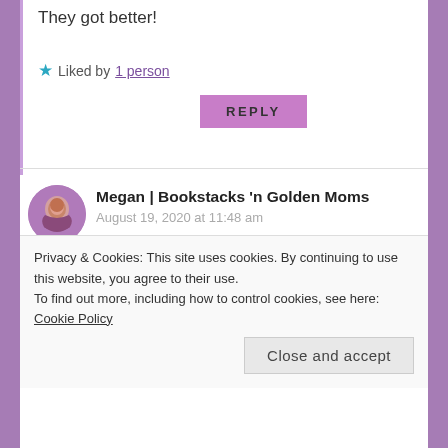They got better!
Liked by 1 person
REPLY
Megan | Bookstacks 'n Golden Moms
August 19, 2020 at 11:48 am
I am very hopeful Throne of Glass will be made into a movie!! I am just about to start the third book in the series (once I catch up on a few ARCs) and I'm completely hooked! Definitely Team Chaol 🙂
Privacy & Cookies: This site uses cookies. By continuing to use this website, you agree to their use.
To find out more, including how to control cookies, see here: Cookie Policy
Close and accept